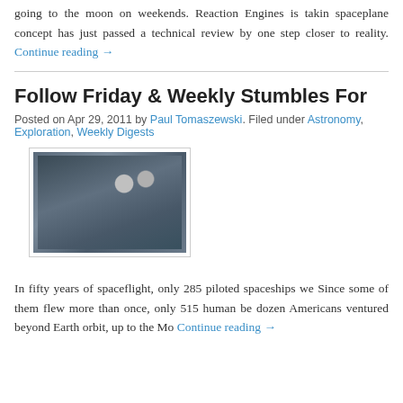going to the moon on weekends. Reaction Engines is taking a spaceplane concept has just passed a technical review by one step closer to reality. Continue reading →
Follow Friday & Weekly Stumbles For
Posted on Apr 29, 2011 by Paul Tomaszewski. Filed under Astronomy, Exploration, Weekly Digests
[Figure (photo): Thumbnail image showing a spacecraft or spaceplane cockpit view with Earth and moon in background]
In fifty years of spaceflight, only 285 piloted spaceships we Since some of them flew more than once, only 515 human be dozen Americans ventured beyond Earth orbit, up to the Mo Continue reading →